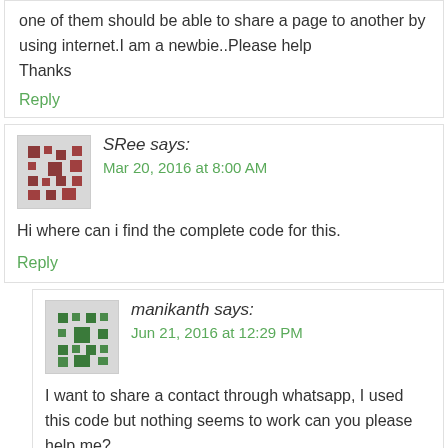one of them should be able to share a page to another by using internet.I am a newbie..Please help
Thanks
Reply
SRee says:
Mar 20, 2016 at 8:00 AM
Hi where can i find the complete code for this.
Reply
manikanth says:
Jun 21, 2016 at 12:29 PM
I want to share a contact through whatsapp, I used this code but nothing seems to work can you please help me?
Intent i = new Intent();